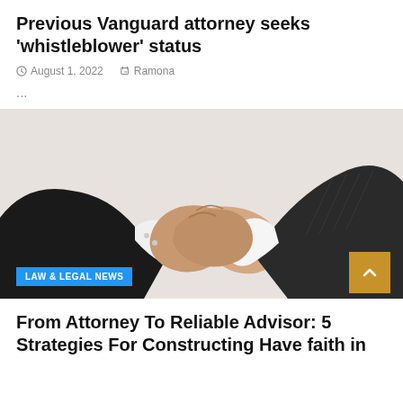Previous Vanguard attorney seeks ‘whistleblower’ status
August 1, 2022   Ramona
...
[Figure (photo): Two people in business suits shaking hands against a white background]
LAW & LEGAL NEWS
From Attorney To Reliable Advisor: 5 Strategies For Constructing Have faith in